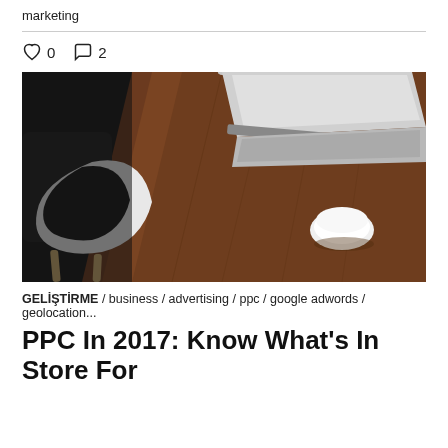marketing
0   2
[Figure (photo): Overhead view of a wooden desk with a closed laptop, Apple Magic Mouse, and a modern chair with black cushion and white seat, wood legs]
GELİŞTİRME / business / advertising / ppc / google adwords / geolocation...
PPC In 2017: Know What's In Store For